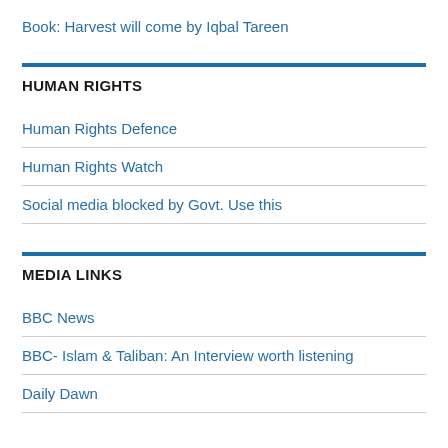Book: Harvest will come by Iqbal Tareen
HUMAN RIGHTS
Human Rights Defence
Human Rights Watch
Social media blocked by Govt. Use this
MEDIA LINKS
BBC News
BBC- Islam & Taliban: An Interview worth listening
Daily Dawn